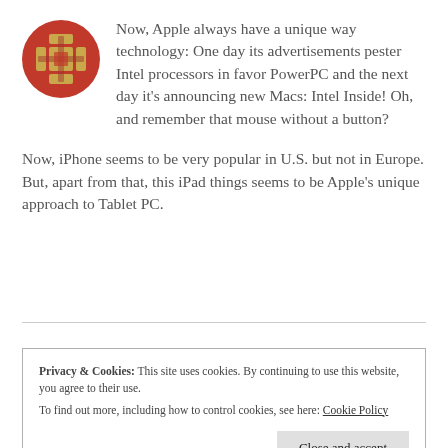[Figure (logo): Circular avatar icon with red background and gold/beige cross-like puzzle pattern]
Now, Apple always have a unique way technology: One day its advertisements pester Intel processors in favor PowerPC and the next day it's announcing new Macs: Intel Inside! Oh, and remember that mouse without a button?
Now, iPhone seems to be very popular in U.S. but not in Europe. But, apart from that, this iPad things seems to be Apple's unique approach to Tablet PC.
Privacy & Cookies: This site uses cookies. By continuing to use this website, you agree to their use.
To find out more, including how to control cookies, see here: Cookie Policy